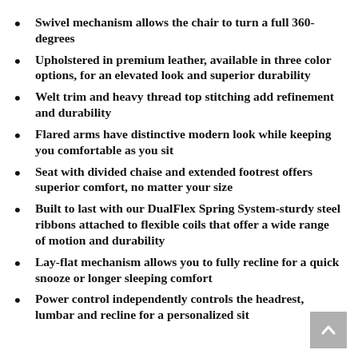Swivel mechanism allows the chair to turn a full 360-degrees
Upholstered in premium leather, available in three color options, for an elevated look and superior durability
Welt trim and heavy thread top stitching add refinement and durability
Flared arms have distinctive modern look while keeping you comfortable as you sit
Seat with divided chaise and extended footrest offers superior comfort, no matter your size
Built to last with our DualFlex Spring System-sturdy steel ribbons attached to flexible coils that offer a wide range of motion and durability
Lay-flat mechanism allows you to fully recline for a quick snooze or longer sleeping comfort
Power control independently controls the headrest, lumbar and recline for a personalized sit